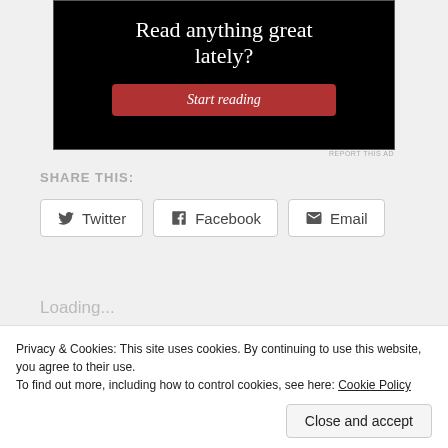[Figure (screenshot): Advertisement banner with black background showing text 'Read anything great lately?' and a red 'Start reading' button]
REPORT THIS AD
SHARE THIS:
Twitter   Facebook   Email
Loading...
Privacy & Cookies: This site uses cookies. By continuing to use this website, you agree to their use.
To find out more, including how to control cookies, see here: Cookie Policy
Close and accept